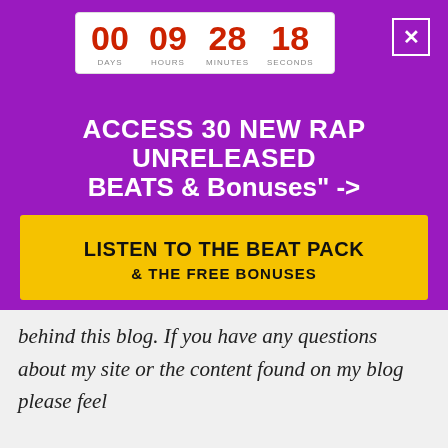[Figure (infographic): Countdown timer showing 00 days, 09 hours, 28 minutes, 18 seconds in red on white background]
ACCESS 30 NEW RAP UNRELEASED BEATS & Bonuses" ->
[Figure (infographic): Yellow button with text: LISTEN TO THE BEAT PACK & THE FREE BONUSES]
behind this blog. If you have any questions about my site or the content found on my blog please feel